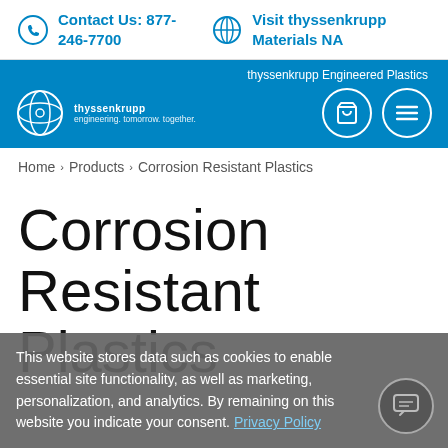Contact Us: 877-246-7700 | Visit thyssenkrupp Materials NA
[Figure (logo): thyssenkrupp Engineered Plastics navigation bar with logo, tagline 'engineering. tomorrow. together.', cart icon, and menu icon]
thyssenkrupp Engineered Plastics
Home > Products > Corrosion Resistant Plastics
Corrosion Resistant Plastics
This website stores data such as cookies to enable essential site functionality, as well as marketing, personalization, and analytics. By remaining on this website you indicate your consent. Privacy Policy